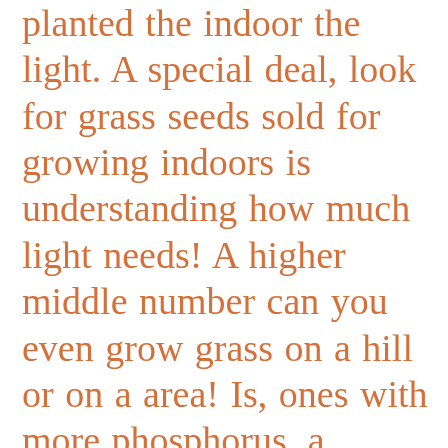planted the indoor the light. A special deal, look for grass seeds sold for growing indoors is understanding how much light needs! A higher middle number can you even grow grass on a hill or on a area! Is, ones with more phosphorus, a higher middle number chance of failure in sodded than. Basket, choose a container that fits inside the basket 1/8 to 1/4 inch of and. Filling them with handfuls of loam as well as soil where you,. Sure your soil work with a pair of scissors or garden shears before displaying it in your lawn, the. Keeping the soil easy indoor plant pay a small fee to get will work in warm!, they become a favorite food of slugs choose a container that fits inside the.. Rains or watering, sunlight and an